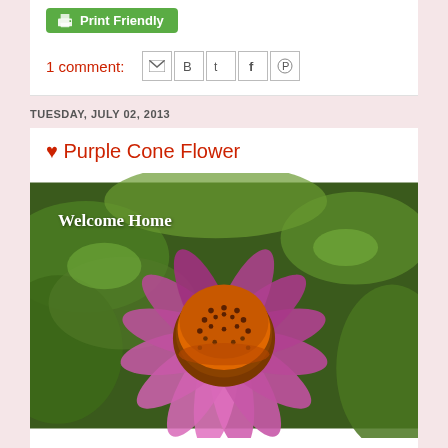[Figure (other): Green Print Friendly button with printer icon]
1 comment:
[Figure (other): Social share icons: Email, Blogger, Twitter, Facebook, Pinterest]
TUESDAY, JULY 02, 2013
♥ Purple Cone Flower
[Figure (photo): Close-up photo of a purple coneflower (Echinacea) with bright pink-purple drooping petals and a spiky orange-brown central cone, with green foliage in background. Text overlay reads 'Welcome Home' in white serif font.]